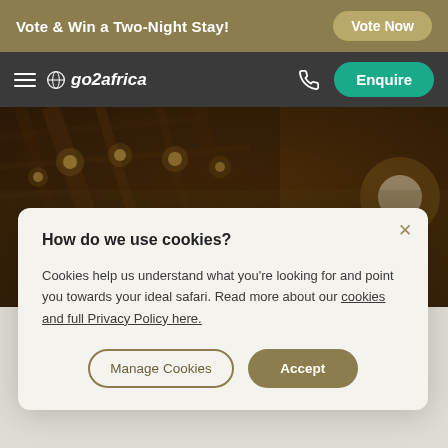Vote & Win a Two-Night Stay! | Vote Now
[Figure (screenshot): go2africa website navigation bar with hamburger menu, logo, phone icon, and Enquire button]
[Figure (photo): Jao Camp lodge interior lit with warm string lights at night. Hero image with text overlay: JAO CAMP, OKAVANGO DELTA, BOTSWANA]
JAO CAMP
OKAVANGO DELTA, BOTSWANA
How do we use cookies?
Cookies help us understand what you're looking for and point you towards your ideal safari. Read more about our cookies and full Privacy Policy here.
Manage Cookies | Accept